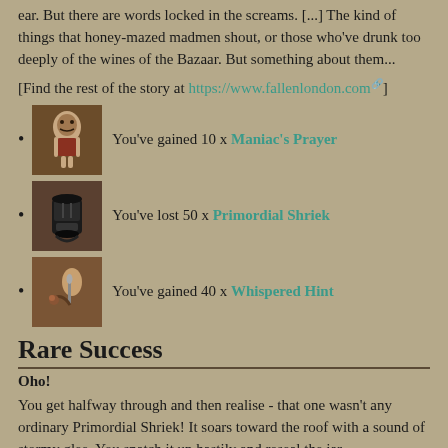ear. But there are words locked in the screams. [...] The kind of things that honey-mazed madmen shout, or those who've drunk too deeply of the wines of the Bazaar. But something about them...
[Find the rest of the story at https://www.fallenlondon.com]
You've gained 10 x Maniac's Prayer
You've lost 50 x Primordial Shriek
You've gained 40 x Whispered Hint
Rare Success
Oho!
You get halfway through and then realise - that one wasn't any ordinary Primordial Shriek! It soars toward the roof with a sound of stormy glee. You snatch it up hastily and reseal the jar.
[Figure (illustration): Small illustration of a dark creature or item at the bottom of the page]